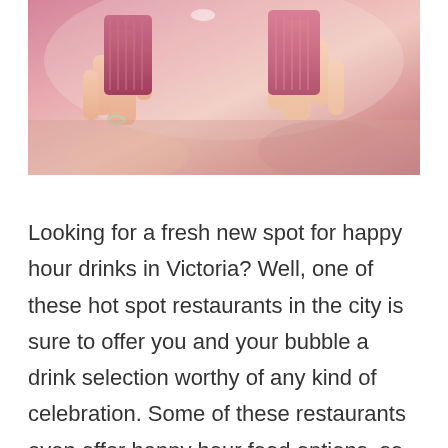[Figure (photo): Two people clinking pink/red drinks in ribbed glasses, photographed from above, one person wearing a ring]
Looking for a fresh new spot for happy hour drinks in Victoria? Well, one of these hot spot restaurants in the city is sure to offer you and your bubble a drink selection worthy of any kind of celebration. Some of these restaurants even offer happy hour food options, so you and your bubble can enjoy delicious food along with your choice of drinks.